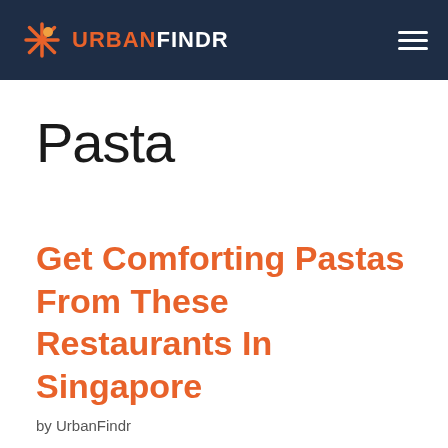URBANFINDR
Pasta
Get Comforting Pastas From These Restaurants In Singapore
by UrbanFindr